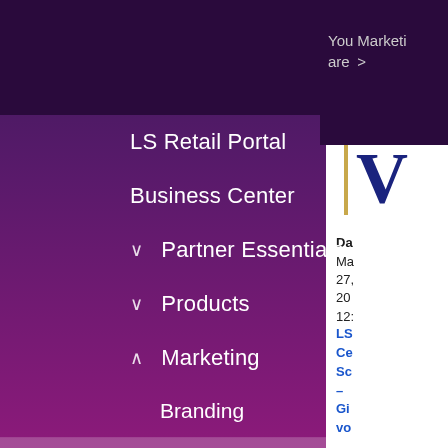You are  Marketing >
LS Retail Portal
Business Center
∨  Partner Essentials
∨  Products
∧  Marketing
Branding
Webinars
Whitepapers
Brochures
conneXion Iceland 2022
Da
Ma 27, 20 12:
LS Ce Sc – Gi vo